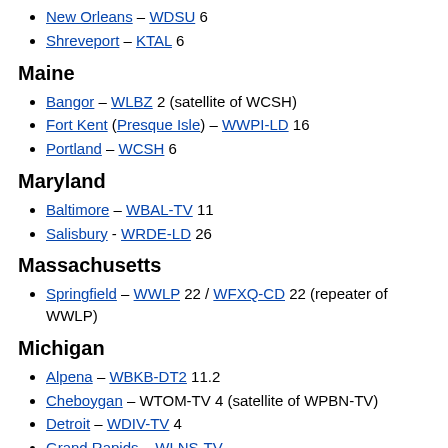New Orleans – WDSU 6
Shreveport – KTAL 6
Maine
Bangor – WLBZ 2 (satellite of WCSH)
Fort Kent (Presque Isle) – WWPI-LD 16
Portland – WCSH 6
Maryland
Baltimore – WBAL-TV 11
Salisbury - WRDE-LD 26
Massachusetts
Springfield – WWLP 22 / WFXQ-CD 22 (repeater of WWLP)
Michigan
Alpena – WBKB-DT2 11.2
Cheboygan – WTOM-TV 4 (satellite of WPBN-TV)
Detroit – WDIV-TV 4
Grand Rapids – WLNS-TV...